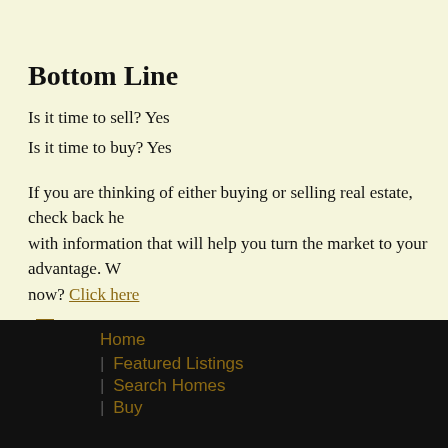Bottom Line
Is it time to sell? Yes
Is it time to buy? Yes
If you are thinking of either buying or selling real estate, check back here with information that will help you turn the market to your advantage. W... now? Click here
Leave a comment
Home
| Featured Listings
| Search Homes
| Buy